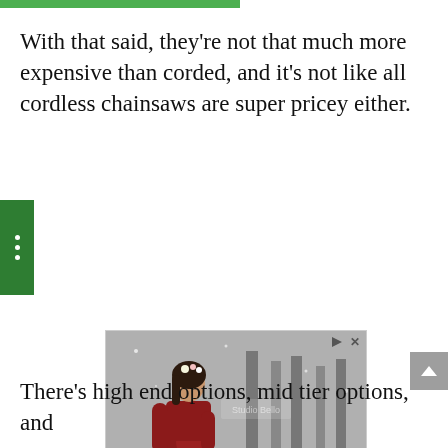With that said, they're not that much more expensive than corded, and it's not like all cordless chainsaws are super pricey either.
[Figure (photo): Advertisement showing a pregnant woman in a red dress standing in a snowy outdoor setting, with branding for Fair Oaks Women's Center and Dr. Sadhna Nicky Singh listing Fairfax hours 8:30AM-5PM]
There's high end options, mid tier options, and